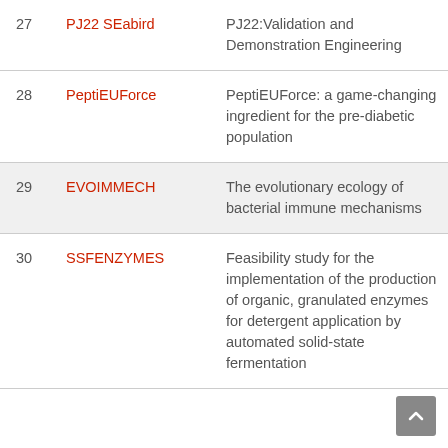| # | Project | Description |
| --- | --- | --- |
| 27 | PJ22 SEabird | PJ22:Validation and Demonstration Engineering |
| 28 | PeptiEUForce | PeptiEUForce: a game-changing ingredient for the pre-diabetic population |
| 29 | EVOIMMECH | The evolutionary ecology of bacterial immune mechanisms |
| 30 | SSFENZYMES | Feasibility study for the implementation of the production of organic, granulated enzymes for detergent application by automated solid-state fermentation |